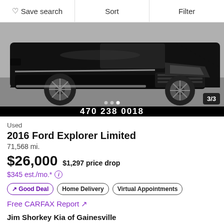Save search | Sort | Filter
[Figure (photo): Photo of a black 2016 Ford Explorer Limited SUV, front/side angle in a parking lot. Image counter shows 3/3. Phone number 470-238-0018 displayed on a black bar below the image.]
Used
2016 Ford Explorer Limited
71,568 mi.
$26,000  $1,297 price drop
$345 est./mo.*
Good Deal | Home Delivery | Virtual Appointments
Free CARFAX Report ↗
Jim Shorkey Kia of Gainesville